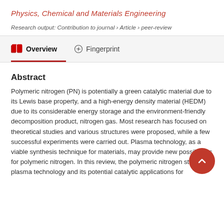Physics, Chemical and Materials Engineering
Research output: Contribution to journal › Article › peer-review
Overview   Fingerprint
Abstract
Polymeric nitrogen (PN) is potentially a green catalytic material due to its Lewis base property, and a high-energy density material (HEDM) due to its considerable energy storage and the environment-friendly decomposition product, nitrogen gas. Most research has focused on theoretical studies and various structures were proposed, while a few successful experiments were carried out. Plasma technology, as a viable synthesis technique for materials, may provide new possibilities for polymeric nitrogen. In this review, the polymeric nitrogen study, the plasma technology and its potential catalytic applications for